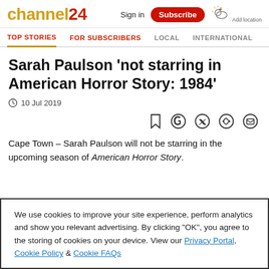channel24
Sign in Subscribe Add location
TOP STORIES FOR SUBSCRIBERS LOCAL INTERNATIONAL
Sarah Paulson 'not starring in American Horror Story: 1984'
10 Jul 2019
Cape Town – Sarah Paulson will not be starring in the upcoming season of American Horror Story.
We use cookies to improve your site experience, perform analytics and show you relevant advertising. By clicking "OK", you agree to the storing of cookies on your device. View our Privacy Portal, Cookie Policy & Cookie FAQs